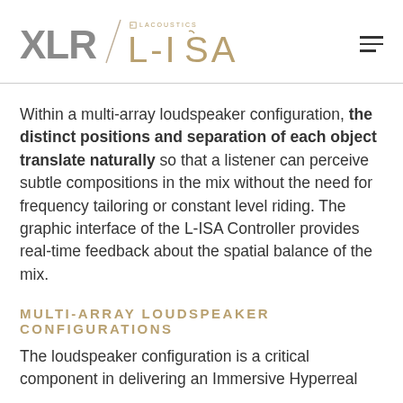XLR / L-ISA (Lacoustics)
Within a multi-array loudspeaker configuration, the distinct positions and separation of each object translate naturally so that a listener can perceive subtle compositions in the mix without the need for frequency tailoring or constant level riding. The graphic interface of the L-ISA Controller provides real-time feedback about the spatial balance of the mix.
MULTI-ARRAY LOUDSPEAKER CONFIGURATIONS
The loudspeaker configuration is a critical component in delivering an Immersive Hyperreal